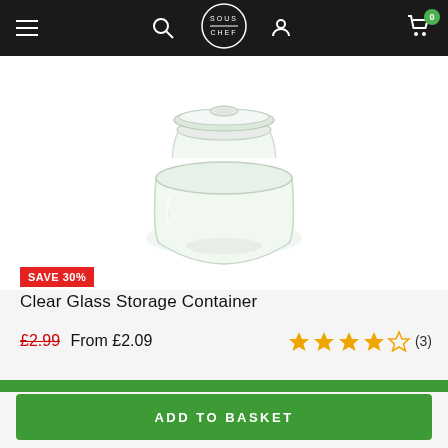Sous Chef navigation bar
[Figure (photo): Clear glass storage container jar with glass lid, shown on white background]
SAVE 30%
Clear Glass Storage Container
£2.99 From £2.09  ★★★★☆ (3)
In stock - Only 1 left
ADD TO BASKET